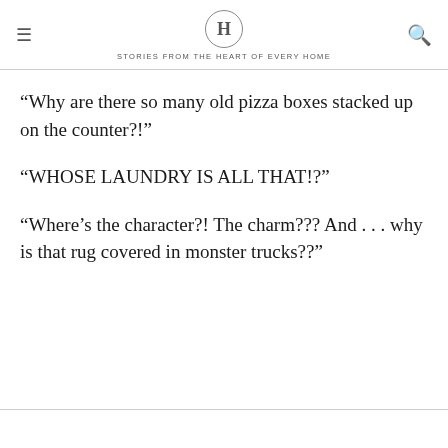H — STORIES FROM THE HEART OF EVERY HOME
“Why are there so many old pizza boxes stacked up on the counter?!”
“WHOSE LAUNDRY IS ALL THAT!?”
“Where’s the character?! The charm??? And . . . why is that rug covered in monster trucks??”